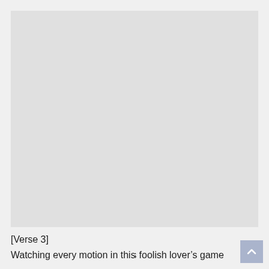[Figure (other): Large grey placeholder image rectangle]
[Verse 3]
Watching every motion in this foolish lover’s game